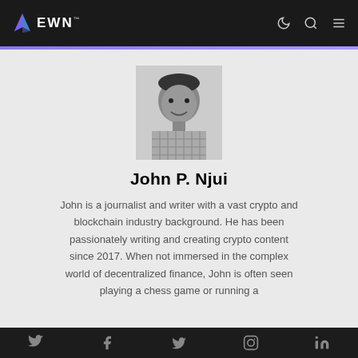EWN
[Figure (photo): Black and white headshot photo of John P. Njui, a man in a checkered shirt smiling at the camera]
John P. Njui
John is a journalist and writer with a vast crypto and blockchain industry background. He has been passionately writing and creating crypto content since 2017. When not immersed in the complex world of decentralized finance, John is often seen playing a chess game or running a